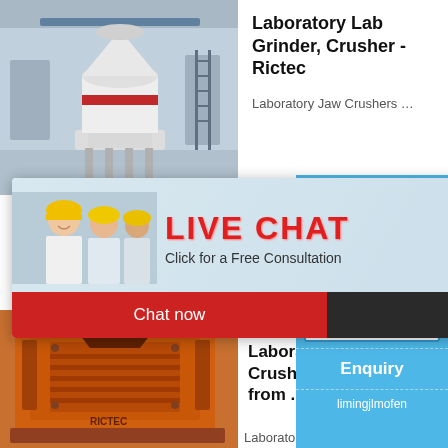[Figure (photo): Industrial laboratory grinder/mill machine in factory setting, white cylindrical grinder with red stripe]
Laboratory Lab Grinder, Crusher - Rictec
Laboratory Jaw Crushers …
[Figure (photo): Live Chat popup overlay showing workers in yellow hard hats with LIVE CHAT text and Click for a Free Consultation]
Chat now
Chat later
[Figure (photo): Right side blue panel with jaw crusher machine image, hour online text, Click me to chat>> button, Enquiry button, limingjlmofen username]
[Figure (photo): Orange/red jaw crusher machine photo]
Jaw Crusher, Laboratory Crusher from ...
Laborato…